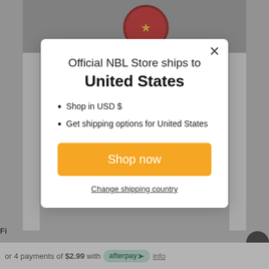[Figure (screenshot): E-commerce product page screenshot showing a hat with NBL badge in the background, partially obscured by a modal dialog. Bottom bar shows Afterpay payment option.]
Official NBL Store ships to
United States
Shop in USD $
Get shipping options for United States
Shop now
Change shipping country
or 4 payments of $2.99 with afterpay> info